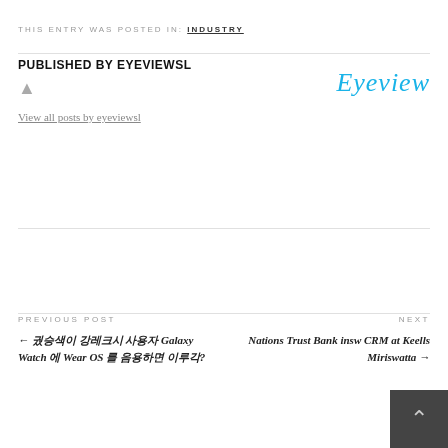THIS ENTRY WAS POSTED IN: INDUSTRY
PUBLISHED BY EYEVIEWSL
[Figure (logo): Eyeview cursive logo in blue]
View all posts by eyeviewsl
PREVIOUS POST
← [Korean text] Galaxy Watch [Korean] Wear OS [Korean]?
NEXT
Nations Trust Bank ins... CRM at Keells Miriswatta →